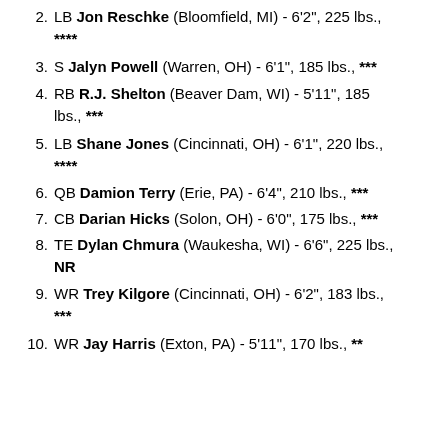2. LB Jon Reschke (Bloomfield, MI) - 6'2", 225 lbs., ****
3. S Jalyn Powell (Warren, OH) - 6'1", 185 lbs., ***
4. RB R.J. Shelton (Beaver Dam, WI) - 5'11", 185 lbs., ***
5. LB Shane Jones (Cincinnati, OH) - 6'1", 220 lbs., ****
6. QB Damion Terry (Erie, PA) - 6'4", 210 lbs., ***
7. CB Darian Hicks (Solon, OH) - 6'0", 175 lbs., ***
8. TE Dylan Chmura (Waukesha, WI) - 6'6", 225 lbs., NR
9. WR Trey Kilgore (Cincinnati, OH) - 6'2", 183 lbs., ***
10. WR Jay Harris (Exton, PA) - 5'11", 170 lbs., **